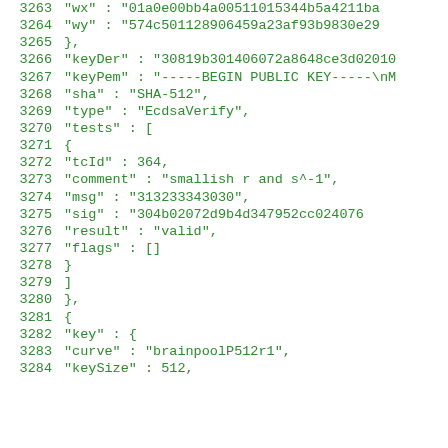3263   "wx" : "01a0e00bb4a00511015344b5a4211ba...
3264   "wy" : "574c501128906459a23af93b9830e29...
3265   },
3266   "keyDer" : "30819b301406072a8648ce3d02010...
3267   "keyPem" : "-----BEGIN PUBLIC KEY-----\nM...
3268   "sha" : "SHA-512",
3269   "type" : "EcdsaVerify",
3270   "tests" : [
3271     {
3272       "tcId" : 364,
3273       "comment" : "smallish r and s^-1",
3274       "msg" : "313233343030",
3275       "sig" : "304b02072d9b4d347952cc024076...
3276       "result" : "valid",
3277       "flags" : []
3278     }
3279   ]
3280   },
3281   {
3282     "key" : {
3283       "curve" : "brainpoolP512r1",
3284       "keySize" : 512,